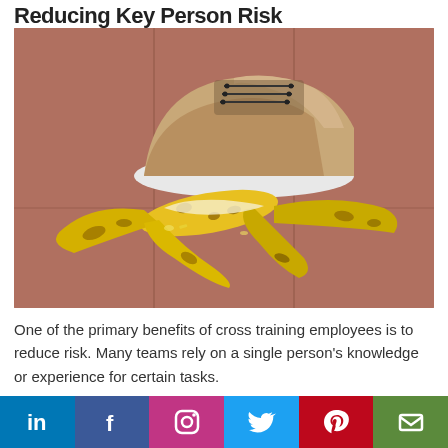Reducing Key Person Risk
[Figure (photo): A sneaker stepping on a banana peel on a brown wooden floor, symbolizing slip risk or workplace hazard.]
One of the primary benefits of cross training employees is to reduce risk. Many teams rely on a single person's knowledge or experience for certain tasks.
LinkedIn | Facebook | Instagram | Twitter | Pinterest | Email